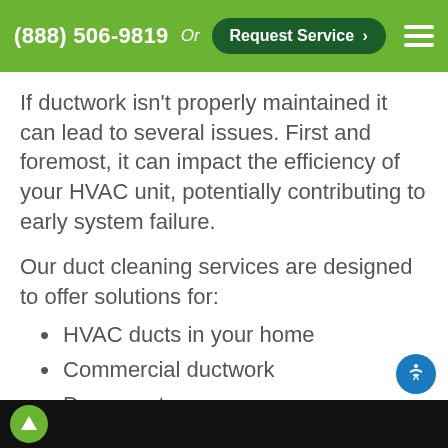(888) 506-9819  Or  Request Service >
If ductwork isn’t properly maintained it can lead to several issues. First and foremost, it can impact the efficiency of your HVAC unit, potentially contributing to early system failure.
Our duct cleaning services are designed to offer solutions for:
HVAC ducts in your home
Commercial ductwork
Dryer vents
[Figure (photo): Bottom strip showing company logo on dark background]